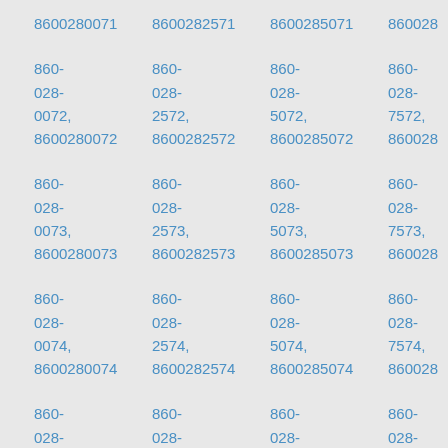8600280071 8600282571 8600285071 860028...
860-028-0072, 8600280072 860-028-2572, 8600282572 860-028-5072, 8600285072 860-028-7572, 860028...
860-028-0073, 8600280073 860-028-2573, 8600282573 860-028-5073, 8600285073 860-028-7573, 860028...
860-028-0074, 8600280074 860-028-2574, 8600282574 860-028-5074, 8600285074 860-028-7574, 860028...
860-028- 860-028- 860-028- 860-028-